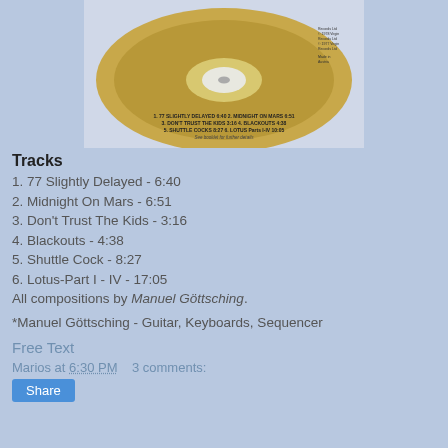[Figure (photo): Photo of a gold CD disc showing track listing on label]
Tracks
1. 77 Slightly Delayed - 6:40
2. Midnight On Mars - 6:51
3. Don't Trust The Kids - 3:16
4. Blackouts - 4:38
5. Shuttle Cock - 8:27
6. Lotus-Part I - IV - 17:05
All compositions by Manuel Göttsching.
*Manuel Göttsching - Guitar, Keyboards, Sequencer
Free Text
Marios at 6:30 PM    3 comments:
Share